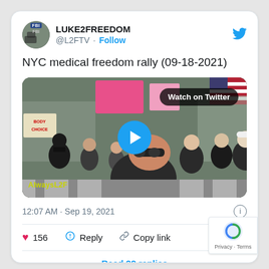LUKE2FREEDOM @L2FTV · Follow
NYC medical freedom rally (09-18-2021)
[Figure (screenshot): Video thumbnail showing a crowd of people marching in NYC, with signs and American flags visible. A blue play button is centered on the image. A 'Watch on Twitter' badge appears in the upper right. Watermark 'AlwaysL2F' in bottom left.]
12:07 AM · Sep 19, 2021
156  Reply  Copy link
Read 22 replies